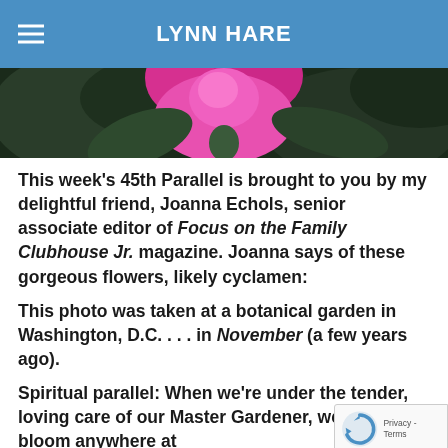LYNN HARE
[Figure (photo): Close-up photo of a bright pink/magenta flower (likely cyclamen) with dark green foliage in the background.]
This week's 45th Parallel is brought to you by my delightful friend, Joanna Echols, senior associate editor of Focus on the Family Clubhouse Jr. magazine. Joanna says of these gorgeous flowers, likely cyclamen:
This photo was taken at a botanical garden in Washington, D.C. . . . in November (a few years ago).
Spiritual parallel: When we're under the tender, loving care of our Master Gardener, we can bloom anywhere at